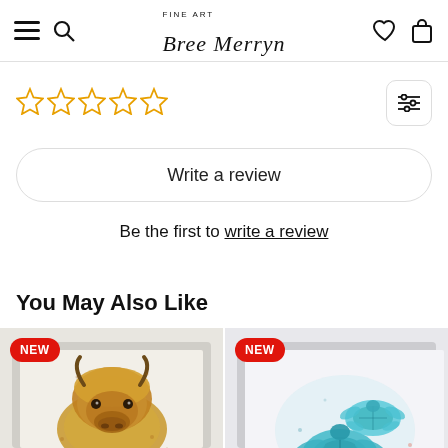Bree Merryn Fine Art
[Figure (other): Five empty star rating icons in orange/gold outline]
Write a review
Be the first to write a review
You May Also Like
[Figure (photo): Framed watercolor print of two highland cows with NEW badge]
[Figure (photo): Framed watercolor print of sea turtles with NEW badge and chat bubble icon]